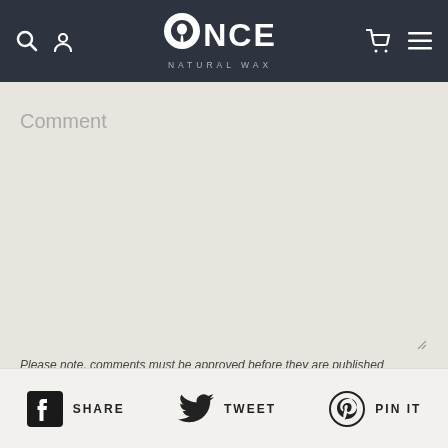Once Natural Wax — site header with search, user, cart, menu icons
Comment
Please note, comments must be approved before they are published
Write a comment
SHARE  TWEET  PIN IT